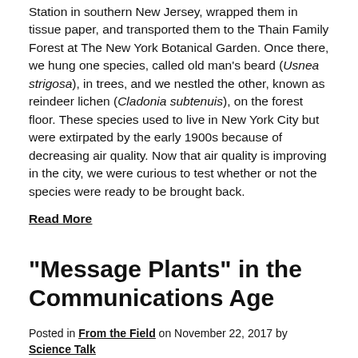Station in southern New Jersey, wrapped them in tissue paper, and transported them to the Thain Family Forest at The New York Botanical Garden. Once there, we hung one species, called old man’s beard (Usnea strigosa), in trees, and we nestled the other, known as reindeer lichen (Cladonia subtenuis), on the forest floor. These species used to live in New York City but were extirpated by the early 1900s because of decreasing air quality. Now that air quality is improving in the city, we were curious to test whether or not the species were ready to be brought back.
Read More
“Message Plants” in the Communications Age
Posted in From the Field on November 22, 2017 by Science Talk
Gregory M. Plunkett, Ph.D., is Director and Curator of the Cullman